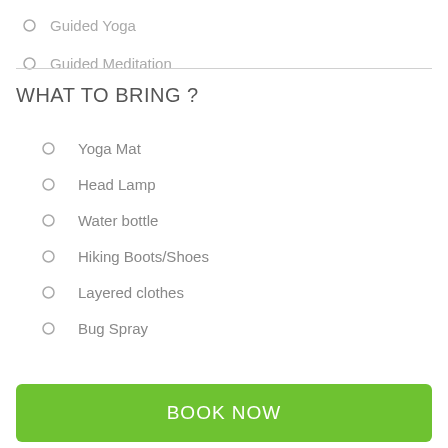Guided Yoga
Guided Meditation
WHAT TO BRING ?
Yoga Mat
Head Lamp
Water bottle
Hiking Boots/Shoes
Layered clothes
Bug Spray
BOOK NOW